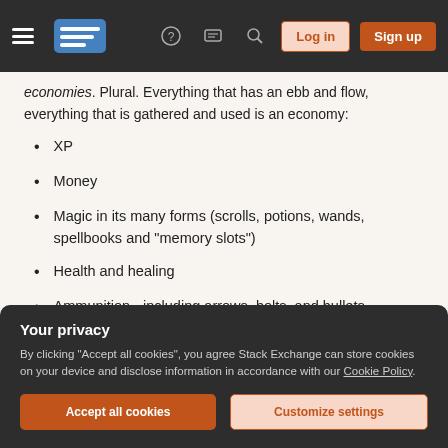Stack Exchange navigation bar with Log in and Sign up buttons
economies. Plural. Everything that has an ebb and flow, everything that is gathered and used is an economy:
XP
Money
Magic in its many forms (scrolls, potions, wands, spellbooks and "memory slots")
Health and healing
Ammunition - including arrows, bolts, and bullets
Sanity / Morality
Your privacy
By clicking "Accept all cookies", you agree Stack Exchange can store cookies on your device and disclose information in accordance with our Cookie Policy.
Accept all cookies   Customize settings